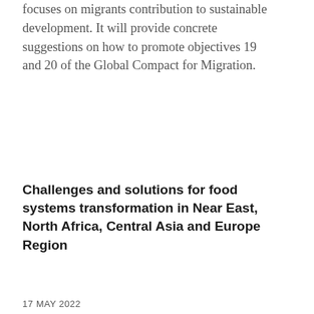focuses on migrants contribution to sustainable development. It will provide concrete suggestions on how to promote objectives 19 and 20 of the Global Compact for Migration.
Challenges and solutions for food systems transformation in Near East, North Africa, Central Asia and Europe Region
17 MAY 2022